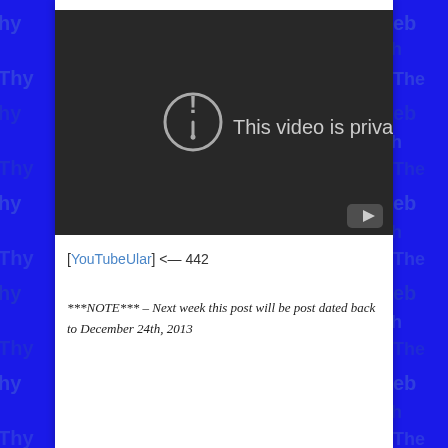[Figure (screenshot): YouTube video embed showing 'This video is private' error message on a dark background, with a YouTube play button icon in the bottom right corner.]
[YouTubeUlar] <— 442
***NOTE*** – Next week this post will be post dated back to December 24th, 2013